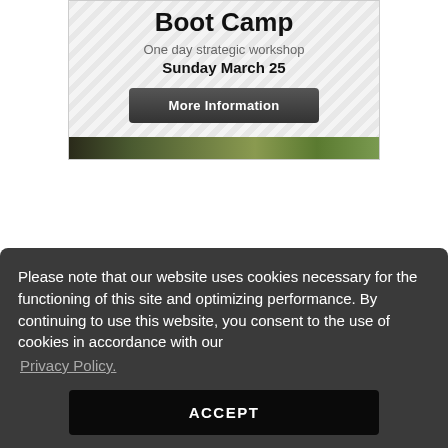[Figure (infographic): Boot camp promotional card with hatched background, 'Boot Camp' title, subtitle 'One day strategic workshop', date 'Sunday March 25', a 'More Information' dark button, and a camouflage-colored image bar at the bottom]
Sponsor Companies
[Figure (logo): DeveloperMedia logo with blue dot grid on the left and bold dark text 'DeveloperMedia']
[Figure (logo): FIXATE logo in italic purple lettering with arrow decorations]
Please note that our website uses cookies necessary for the functioning of this site and optimizing performance. By continuing to use this website, you consent to the use of cookies in accordance with our Privacy Policy.
ACCEPT